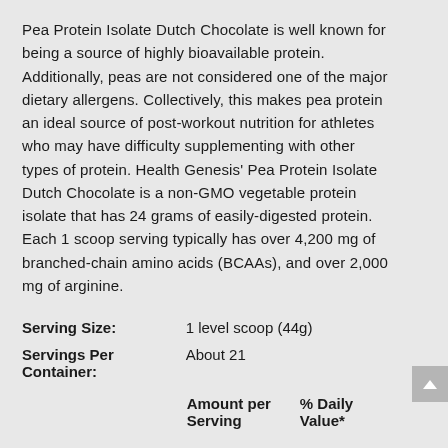Pea Protein Isolate Dutch Chocolate is well known for being a source of highly bioavailable protein. Additionally, peas are not considered one of the major dietary allergens. Collectively, this makes pea protein an ideal source of post-workout nutrition for athletes who may have difficulty supplementing with other types of protein. Health Genesis' Pea Protein Isolate Dutch Chocolate is a non-GMO vegetable protein isolate that has 24 grams of easily-digested protein. Each 1 scoop serving typically has over 4,200 mg of branched-chain amino acids (BCAAs), and over 2,000 mg of arginine.
| Serving Size: | 1 level scoop (44g) |
| Servings Per Container: | About 21 |
|  | Amount per Serving	% Daily Value* |